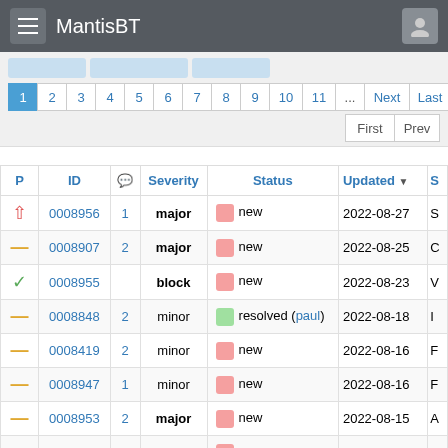MantisBT
| P | ID | 💬 | Severity | Status | Updated | S |
| --- | --- | --- | --- | --- | --- | --- |
| ↑ | 0008956 | 1 | major | new | 2022-08-27 | S |
| — | 0008907 | 2 | major | new | 2022-08-25 | C |
| ✓ | 0008955 |  | block | new | 2022-08-23 | V |
| — | 0008848 | 2 | minor | resolved (paul) | 2022-08-18 | I |
| — | 0008419 | 2 | minor | new | 2022-08-16 | F |
| — | 0008947 | 1 | minor | new | 2022-08-16 | F |
| — | 0008953 | 2 | major | new | 2022-08-15 | A |
| — | 0008939 | 6 | major | new | 2022-08-12 | S |
| — | 0008759 | 3 | minor | assigned (paul) | 2022-08-12 | N |
| ✓ | 0008952 |  | minor | new | 2022-08-12 |  |